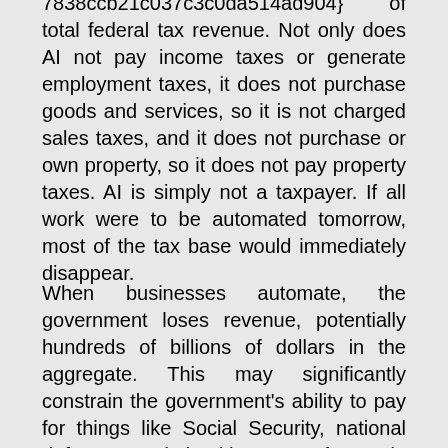7838ccb21c037c3c0da514ad904} of total federal tax revenue. Not only does AI not pay income taxes or generate employment taxes, it does not purchase goods and services, so it is not charged sales taxes, and it does not purchase or own property, so it does not pay property taxes. AI is simply not a taxpayer. If all work were to be automated tomorrow, most of the tax base would immediately disappear.
When businesses automate, the government loses revenue, potentially hundreds of billions of dollars in the aggregate. This may significantly constrain the government's ability to pay for things like Social Security, national defense, and health care. If people eventually get comparable jobs, then the revenue loss is only temporary. But if job losses are permanent, the entire tax structure must change.